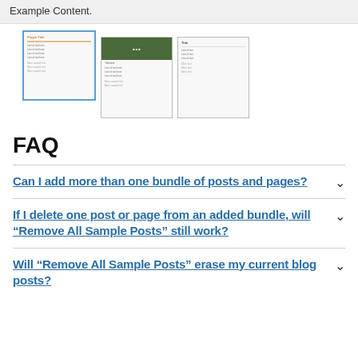Example Content.
[Figure (screenshot): Three thumbnail screenshots of plugin/template pages. The first thumbnail is highlighted with a blue border. The second thumbnail shows a dark image header. The third thumbnail shows a list-style layout.]
FAQ
Can I add more than one bundle of posts and pages?
If I delete one post or page from an added bundle, will "Remove All Sample Posts" still work?
Will "Remove All Sample Posts" erase my current blog posts?